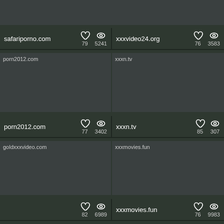[Figure (screenshot): safariporno.com thumbnail (partial, top)]
[Figure (screenshot): xxxvideo24.org thumbnail (partial, top)]
safariporno.com  ♡ 79  👁 5241
xxxvideo24.org  ♡ 76  👁 3583
[Figure (screenshot): porn2012.com thumbnail]
[Figure (screenshot): xxxn.tv thumbnail]
porn2012.com  ♡ 77  👁 3402
xxxn.tv  ♡ 85  👁 307
[Figure (screenshot): goldxxxvideo.com thumbnail]
[Figure (screenshot): xxxmovies.fun thumbnail]
goldxxxvideo.com  ♡ 82  👁 6989
xxxmovies.fun  ♡ 76  👁 9983